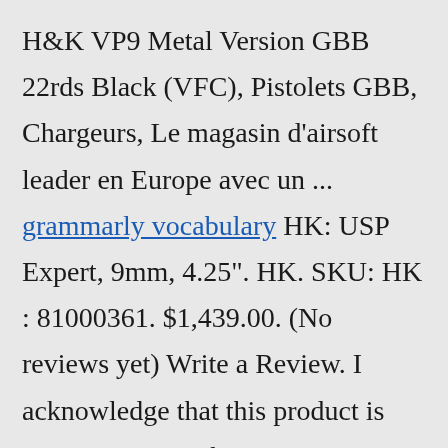H&K VP9 Metal Version GBB 22rds Black (VFC), Pistolets GBB, Chargeurs, Le magasin d'airsoft leader en Europe avec un ... grammarly vocabulary HK: USP Expert, 9mm, 4.25". HK. SKU: HK : 81000361. $1,439.00. (No reviews yet) Write a Review. I acknowledge that this product is REQUIRED to ship to an FFL - I will input the FFL's SHIPPING ADDRESS at checkout.: The H&K USP 9mm full size